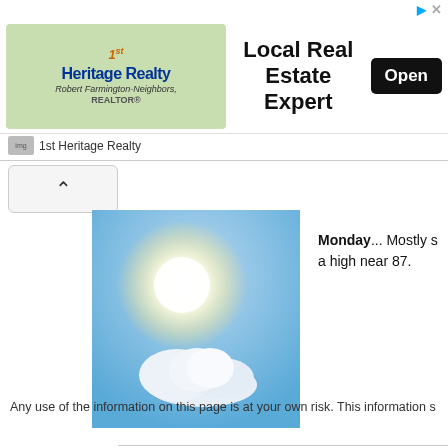[Figure (logo): 1st Heritage Realty advertisement banner with logo, 'Local Real Estate Expert' text, and Open button]
[Figure (photo): Weather image showing bright sun with a cloud against blue sky]
Monday...  Mostly s a high near 87.
Any use of the information on this page is at your own risk. This information s